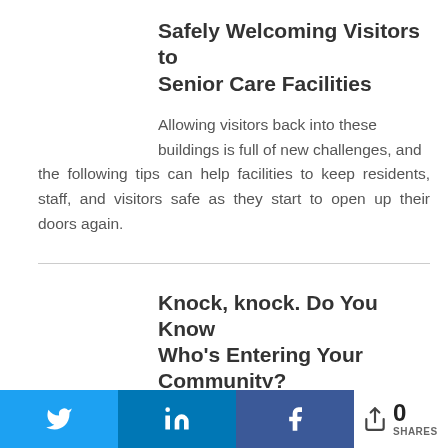Safely Welcoming Visitors to Senior Care Facilities
Allowing visitors back into these buildings is full of new challenges, and the following tips can help facilities to keep residents, staff, and visitors safe as they start to open up their doors again.
Knock, knock. Do You Know Who's Entering Your Community?
Learn why over a dozen senior living